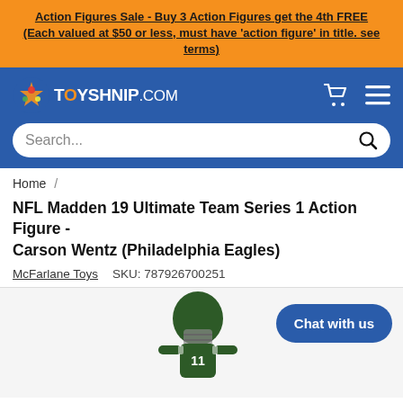Action Figures Sale - Buy 3 Action Figures get the 4th FREE (Each valued at $50 or less, must have 'action figure' in title. see terms)
[Figure (logo): TOYSHNIP.COM logo with colorful toy icon and white text on blue navbar, with cart and menu icons]
Search...
Home /
NFL Madden 19 Ultimate Team Series 1 Action Figure - Carson Wentz (Philadelphia Eagles)
McFarlane Toys    SKU: 787926700251
[Figure (photo): Carson Wentz Philadelphia Eagles action figure in football uniform with helmet, shown from waist up. Chat with us button overlaid on right side.]